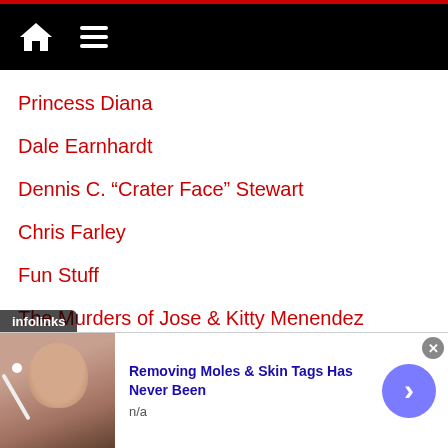Navigation bar with home icon and menu icon
Princess Diana
Dale Earnhardt
Dennis C. “Crater Face” Stewart
Chris Farley
Fun Stuff
The Murders of Jose & Kitty Menendez
T-Shirts
[Figure (screenshot): Partially visible T-shirt advertisement image with dark background and bold text]
infolinks
[Figure (photo): Advertisement showing a person's face with a product near nose. Title: Removing Moles & Skin Tags Has Never Been. Subtitle: n/a]